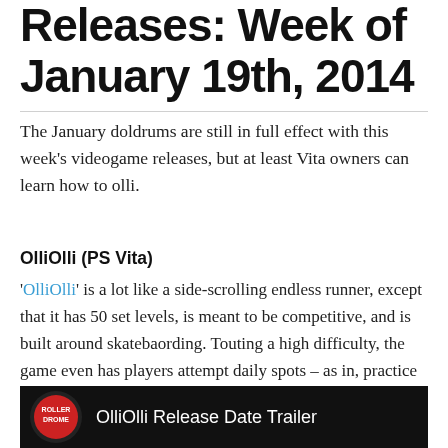Releases: Week of January 19th, 2014
The January doldrums are still in full effect with this week's videogame releases, but at least Vita owners can learn how to olli.
OlliOlli (PS Vita)
'OlliOlli' is a lot like a side-scrolling endless runner, except that it has 50 set levels, is meant to be competitive, and is built around skatebaording. Touting a high difficulty, the game even has players attempt daily spots – as in, practice this one area to get the most points – but only the actual ranked run will count. This looks like a great game for Vita owners.
[Figure (screenshot): Video thumbnail showing OlliOlli Release Date Trailer with Roller Drome logo on black background]